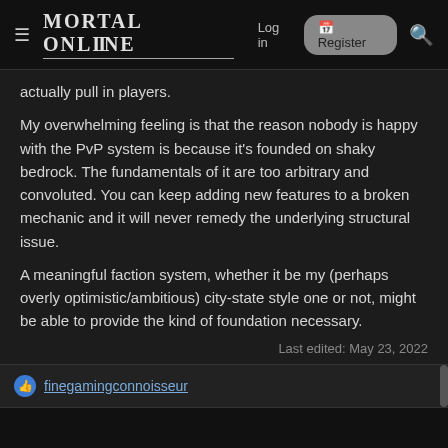MORTAL ONLINE  Log in  Register
actually pull in players.
My overwhelming feeling is that the reason nobody is happy with the PvP system is because it's founded on shaky bedrock. The fundamentals of it are too arbitrary and convoluted. You can keep adding new features to a broken mechanic and it will never remedy the underlying structural issue.
A meaningful faction system, whether it be my (perhaps overly optimistic/ambitious) city-state style one or not, might be able to provide the kind of foundation necessary.
Last edited: May 23, 2022
finegamingconnoisseur
Tashka